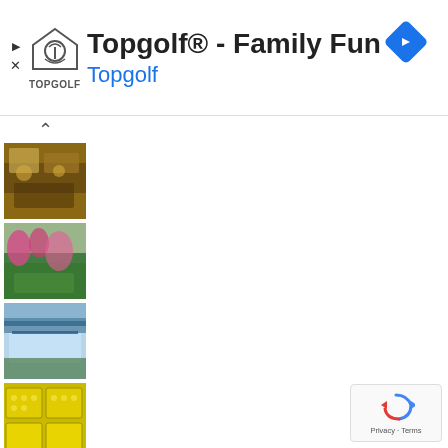[Figure (screenshot): Topgolf advertisement banner with logo, title 'Topgolf® - Family Fun', subtitle 'Topgolf' in blue, navigation arrow icon, play and close icons on left.]
[Figure (photo): Thumbnail photo 1: farmhouse/food scene with warm brown tones]
[Figure (photo): Thumbnail photo 2: garden with flowers and pink/purple blossoms]
[Figure (photo): Thumbnail photo 3: pool/countryside view with blue and green tones]
[Figure (photo): Thumbnail photo 4: trays of yellow/green produce (likely melons/lemons)]
Agriturismo il Melograno di Banditella
Type: Farmhouse
Location: Grosseto (Countryside, Seaside)
Sleeps: 16
N° of rooms: 4
N° of apartments: 2